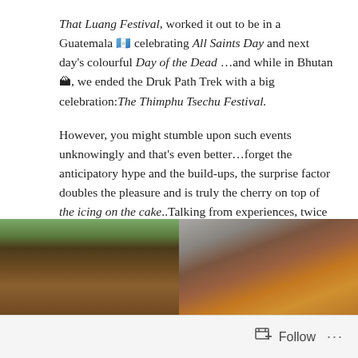That Luang Festival, worked it out to be in a Guatemala 🇬🇹 celebrating All Saints Day and next day's colourful Day of the Dead …and while in Bhutan 🏔, we ended the Druk Path Trek with a big celebration:The Thimphu Tsechu Festival.

However, you might stumble upon such events unknowingly and that's even better…forget the anticipatory hype and the build-ups, the surprise factor doubles the pleasure and is truly the cherry on top of the icing on the cake..Talking from experiences, twice in Myanmar and 5 times in Peru !!
[Figure (photo): Left photo showing an old thatched/wooden roof structure with trees in background]
[Figure (photo): Right photo showing colorful traditional costume or festival decoration, warm orange/yellow tones]
Follow ···